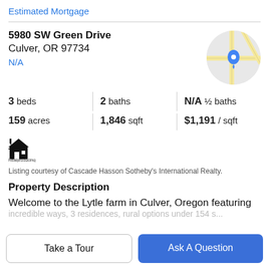Estimated Mortgage
5980 SW Green Drive
Culver, OR 97734
N/A
[Figure (map): Circular Google Maps thumbnail showing a street map with a blue location pin marker.]
| 3 beds | 2 baths | N/A ½ baths |
| 159 acres | 1,846 sqft | $1,191 / sqft |
[Figure (logo): Small pixel-art style house logo with text 'Realproducing']
Listing courtesy of Cascade Hasson Sotheby's International Realty.
Property Description
Welcome to the Lytle farm in Culver, Oregon featuring
incredible ways, 3 residences, rural options under 154 s...